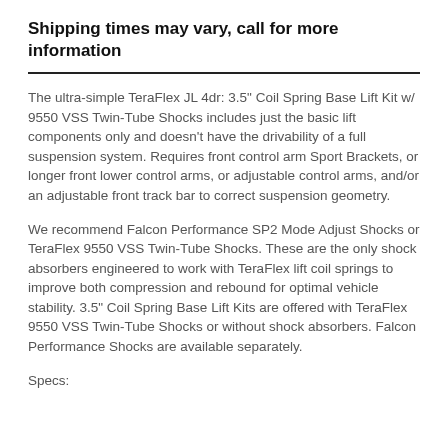Shipping times may vary, call for more information
The ultra-simple TeraFlex JL 4dr: 3.5" Coil Spring Base Lift Kit w/ 9550 VSS Twin-Tube Shocks includes just the basic lift components only and doesn't have the drivability of a full suspension system. Requires front control arm Sport Brackets, or longer front lower control arms, or adjustable control arms, and/or an adjustable front track bar to correct suspension geometry.
We recommend Falcon Performance SP2 Mode Adjust Shocks or TeraFlex 9550 VSS Twin-Tube Shocks. These are the only shock absorbers engineered to work with TeraFlex lift coil springs to improve both compression and rebound for optimal vehicle stability. 3.5" Coil Spring Base Lift Kits are offered with TeraFlex 9550 VSS Twin-Tube Shocks or without shock absorbers. Falcon Performance Shocks are available separately.
Specs: